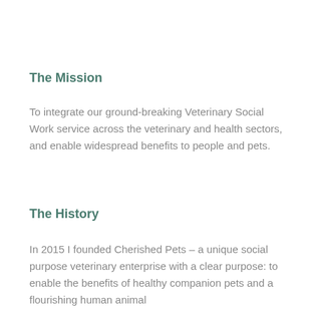The Mission
To integrate our ground-breaking Veterinary Social Work service across the veterinary and health sectors, and enable widespread benefits to people and pets.
The History
In 2015 I founded Cherished Pets – a unique social purpose veterinary enterprise with a clear purpose: to enable the benefits of healthy companion pets and a flourishing human animal